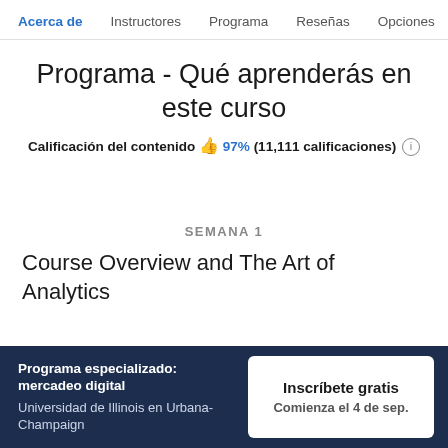Acerca de  Instructores  Programa  Reseñas  Opciones
Programa - Qué aprenderás en este curso
Calificación del contenido 👍 97% (11,111 calificaciones) ℹ
SEMANA 1
Course Overview and The Art of Analytics
Programa especializado: mercadeo digital
Universidad de Illinois en Urbana-Champaign
Inscríbete gratis
Comienza el 4 de sep.